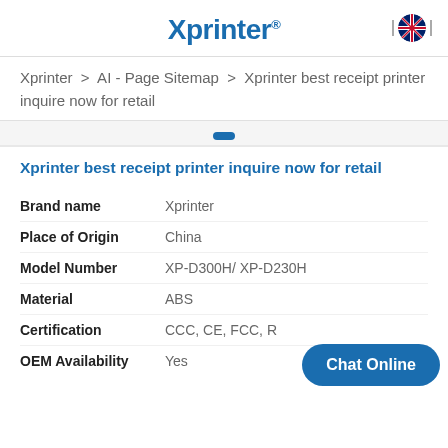Xprinter
Xprinter > AI - Page Sitemap > Xprinter best receipt printer inquire now for retail
Xprinter best receipt printer inquire now for retail
| Brand name | Xprinter |
| Place of Origin | China |
| Model Number | XP-D300H/ XP-D230H |
| Material | ABS |
| Certification | CCC, CE, FCC, R |
| OEM Availability | Yes |